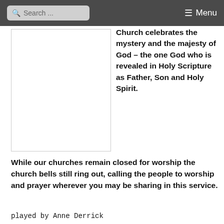Search ... Menu
[Figure (other): Empty white image placeholder box with light border]
Church celebrates the mystery and the majesty of God – the one God who is revealed in Holy Scripture as Father, Son and Holy Spirit.
While our churches remain closed for worship the church bells still ring out, calling the people to worship and prayer wherever you may be sharing in this service.
played by Anne Derrick